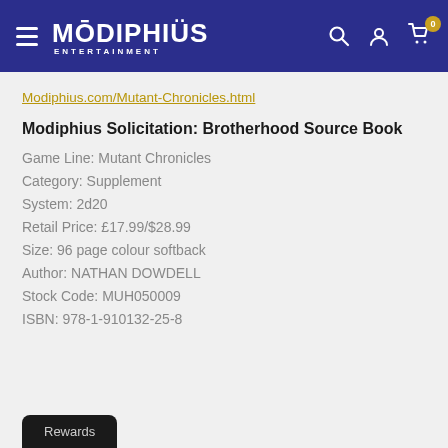Modiphius Entertainment navigation bar
Modiphius.com/Mutant-Chronicles.html
Modiphius Solicitation: Brotherhood Source Book
Game Line: Mutant Chronicles
Category: Supplement
System: 2d20
Retail Price: £17.99/$28.99
Size: 96 page colour softback
Author: NATHAN DOWDELL
Stock Code: MUH050009
ISBN: 978-1-910132-25-8
Rewards